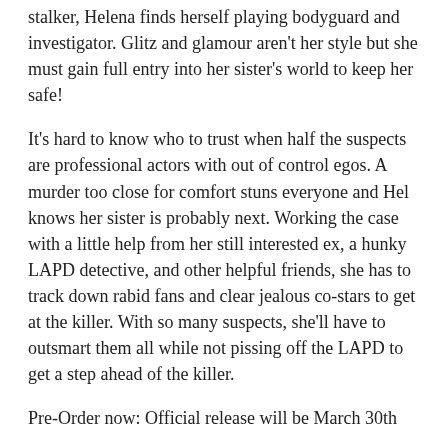stalker, Helena finds herself playing bodyguard and investigator. Glitz and glamour aren't her style but she must gain full entry into her sister's world to keep her safe!
It's hard to know who to trust when half the suspects are professional actors with out of control egos. A murder too close for comfort stuns everyone and Hel knows her sister is probably next. Working the case with a little help from her still interested ex, a hunky LAPD detective, and other helpful friends, she has to track down rabid fans and clear jealous co-stars to get at the killer. With so many suspects, she'll have to outsmart them all while not pissing off the LAPD to get a step ahead of the killer.
Pre-Order now: Official release will be March 30th
Kindle: http://www.amazon.com/Helena-Goes-Hollywood-Morris-Mystery-ebook/dp/B00UOB40I8